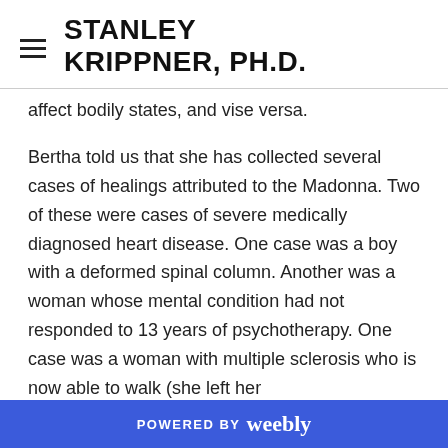STANLEY KRIPPNER, PH.D.
affect bodily states, and vise versa.
Bertha told us that she has collected several cases of healings attributed to the Madonna. Two of these were cases of severe medically diagnosed heart disease. One case was a boy with a deformed spinal column. Another was a woman whose mental condition had not responded to 13 years of psychotherapy. One case was a woman with multiple sclerosis who is now able to walk (she left her
POWERED BY weebly